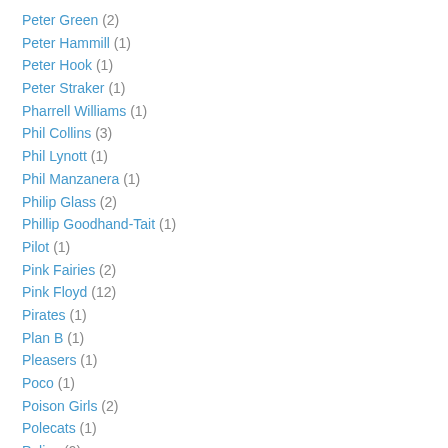Peter Green (2)
Peter Hammill (1)
Peter Hook (1)
Peter Straker (1)
Pharrell Williams (1)
Phil Collins (3)
Phil Lynott (1)
Phil Manzanera (1)
Philip Glass (2)
Phillip Goodhand-Tait (1)
Pilot (1)
Pink Fairies (2)
Pink Floyd (12)
Pirates (1)
Plan B (1)
Pleasers (1)
Poco (1)
Poison Girls (2)
Polecats (1)
Police (9)